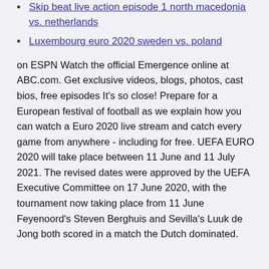Skip beat live action episode 1 north macedonia vs. netherlands
Luxembourg euro 2020 sweden vs. poland
on ESPN Watch the official Emergence online at ABC.com. Get exclusive videos, blogs, photos, cast bios, free episodes It's so close! Prepare for a European festival of football as we explain how you can watch a Euro 2020 live stream and catch every game from anywhere - including for free. UEFA EURO 2020 will take place between 11 June and 11 July 2021. The revised dates were approved by the UEFA Executive Committee on 17 June 2020, with the tournament now taking place from 11 June Feyenoord's Steven Berghuis and Sevilla's Luuk de Jong both scored in a match the Dutch dominated.